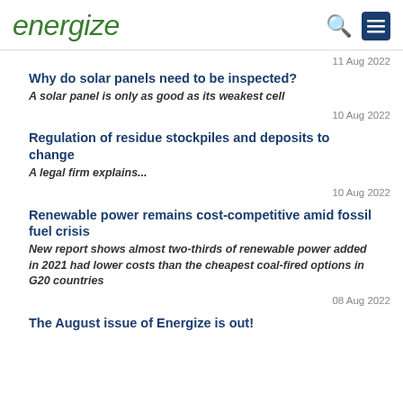energize
11 Aug 2022
Why do solar panels need to be inspected?
A solar panel is only as good as its weakest cell
10 Aug 2022
Regulation of residue stockpiles and deposits to change
A legal firm explains...
10 Aug 2022
Renewable power remains cost-competitive amid fossil fuel crisis
New report shows almost two-thirds of renewable power added in 2021 had lower costs than the cheapest coal-fired options in G20 countries
08 Aug 2022
The August issue of Energize is out!